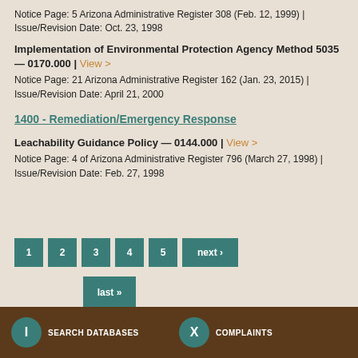Notice Page: 5 Arizona Administrative Register 308 (Feb. 12, 1999) | Issue/Revision Date: Oct. 23, 1998
Implementation of Environmental Protection Agency Method 5035 — 0170.000 | View >
Notice Page: 21 Arizona Administrative Register 162 (Jan. 23, 2015) | Issue/Revision Date: April 21, 2000
1400 - Remediation/Emergency Response
Leachability Guidance Policy — 0144.000 | View >
Notice Page: 4 of Arizona Administrative Register 796 (March 27, 1998) | Issue/Revision Date: Feb. 27, 1998
1
2
3
4
5
next ›
last »
SEARCH DATABASES | COMPLAINTS